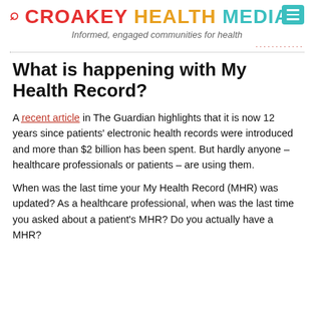CROAKEY HEALTH MEDIA — Informed, engaged communities for health
What is happening with My Health Record?
A recent article in The Guardian highlights that it is now 12 years since patients' electronic health records were introduced and more than $2 billion has been spent.  But hardly anyone – healthcare professionals or patients – are using them.
When was the last time your My Health Record (MHR) was updated? As a healthcare professional, when was the last time you asked about a patient's MHR?  Do you actually have a MHR?